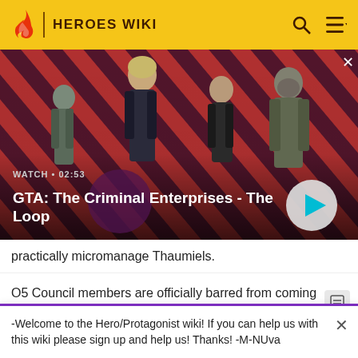HEROES WIKI
[Figure (screenshot): GTA: The Criminal Enterprises - The Loop promotional video banner with four characters standing against a red and dark diagonal striped background. Shows WATCH · 02:53 label and a play button.]
practically micromanage Thaumiels.
O5 Council members are officially barred from coming w
-Welcome to the Hero/Protagonist wiki! If you can help us with this wiki please sign up and help us! Thanks! -M-NUva